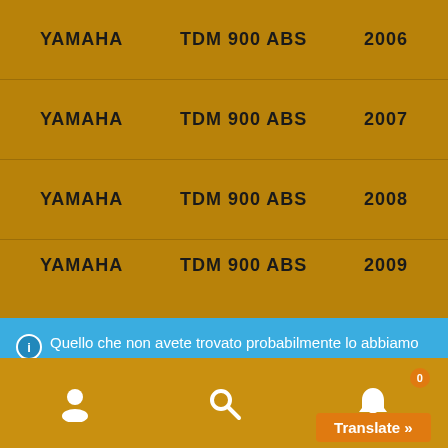| Brand | Model | Year |
| --- | --- | --- |
| YAMAHA | TDM 900 ABS | 2006 |
| YAMAHA | TDM 900 ABS | 2007 |
| YAMAHA | TDM 900 ABS | 2008 |
| YAMAHA | TDM 900 ABS | 2009 |
Quello che non avete trovato probabilmente lo abbiamo ma non è ancora caricato on line...Chiedetecelo Ignora
[Figure (screenshot): Bottom navigation bar with person icon, search icon, and translate button with badge showing 0]